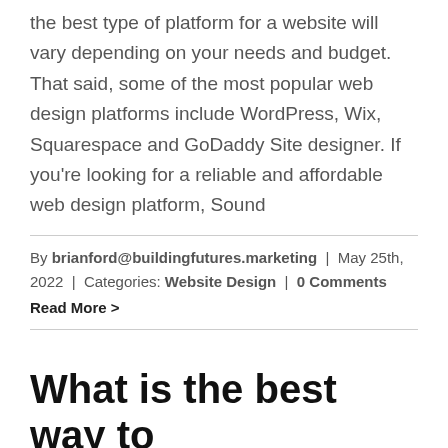the best type of platform for a website will vary depending on your needs and budget. That said, some of the most popular web design platforms include WordPress, Wix, Squarespace and GoDaddy Site designer. If you're looking for a reliable and affordable web design platform, Sound
By brianford@buildingfutures.marketing | May 25th, 2022 | Categories: Website Design | 0 Comments
Read More >
What is the best way to promote my website?